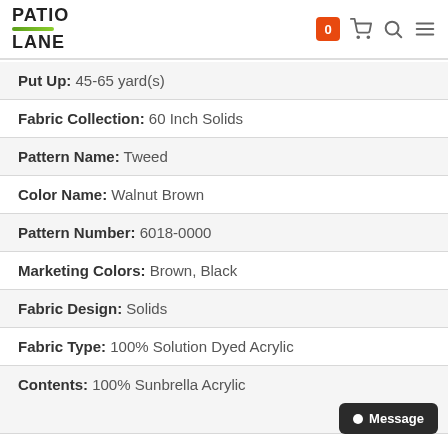PATIO LANE
Put Up: 45-65 yard(s)
Fabric Collection: 60 Inch Solids
Pattern Name: Tweed
Color Name: Walnut Brown
Pattern Number: 6018-0000
Marketing Colors: Brown, Black
Fabric Design: Solids
Fabric Type: 100% Solution Dyed Acrylic
Contents: 100% Sunbrella Acrylic